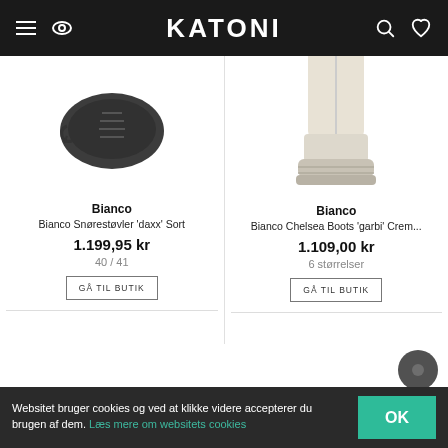KATONI
[Figure (photo): Black lace-up boots viewed from above (top-down angle), Bianco brand]
[Figure (photo): Cream/off-white tall Chelsea boots with chunky sole, Bianco brand]
Bianco
Bianco Snørestøvler 'daxx' Sort
1.199,95 kr
40 / 41
Bianco
Bianco Chelsea Boots 'garbi' Crem...
1.109,00 kr
6 størrelser
Websitet bruger cookies og ved at klikke videre accepterer du brugen af dem. Læs mere om websitets cookies